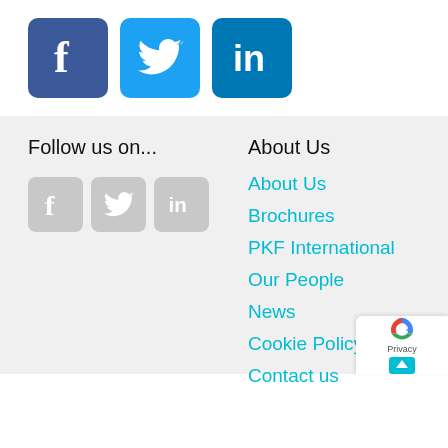[Figure (illustration): Three social media icons: Facebook (dark blue), Twitter (light blue), LinkedIn (dark blue) displayed as large square buttons with rounded corners]
Follow us on...
[Figure (illustration): Three small greyed-out social media icons: Facebook, Twitter, LinkedIn]
About Us
About Us
Brochures
PKF International
Our People
News
Cookie Policy
Contact us